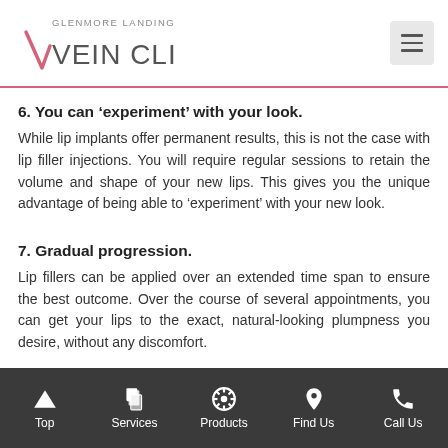Glenmore Landing Vein Clinic
6. You can ‘experiment’ with your look.
While lip implants offer permanent results, this is not the case with lip filler injections. You will require regular sessions to retain the volume and shape of your new lips. This gives you the unique advantage of being able to ‘experiment’ with your new look.
7. Gradual progression.
Lip fillers can be applied over an extended time span to ensure the best outcome. Over the course of several appointments, you can get your lips to the exact, natural-looking plumpness you desire, without any discomfort.
Top | Services | Products | Find Us | Call Us